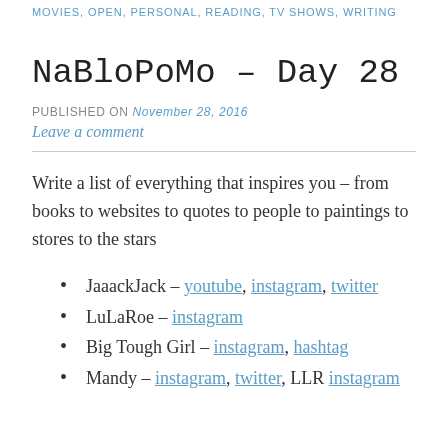MOVIES, OPEN, PERSONAL, READING, TV SHOWS, WRITING
NaBloPoMo – Day 28
PUBLISHED ON November 28, 2016
Leave a comment
Write a list of everything that inspires you – from books to websites to quotes to people to paintings to stores to the stars
JaaackJack – youtube, instagram, twitter
LuLaRoe – instagram
Big Tough Girl – instagram, hashtag
Mandy – instagram, twitter, LLR instagram